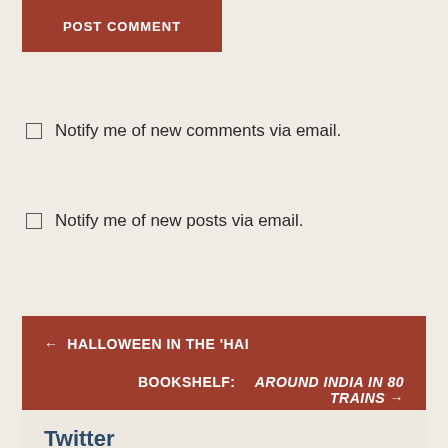POST COMMENT
Notify me of new comments via email.
Notify me of new posts via email.
← HALLOWEEN IN THE 'HAI
BOOKSHELF:   AROUND INDIA IN 80 TRAINS →
Twitter